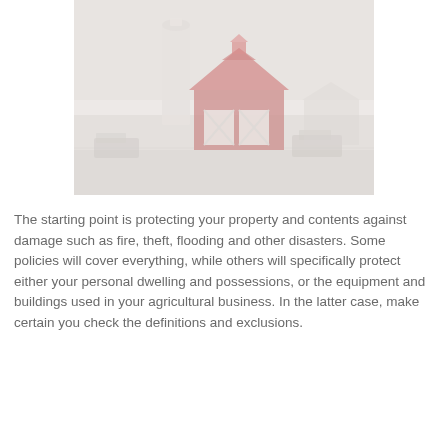[Figure (photo): A faded/washed-out photograph of a farm scene showing a red barn with white X-cross details on the doors, a grain silo in the background, vehicles parked nearby, and flat agricultural land under a pale overcast sky.]
The starting point is protecting your property and contents against damage such as fire, theft, flooding and other disasters. Some policies will cover everything, while others will specifically protect either your personal dwelling and possessions, or the equipment and buildings used in your agricultural business. In the latter case, make certain you check the definitions and exclusions.